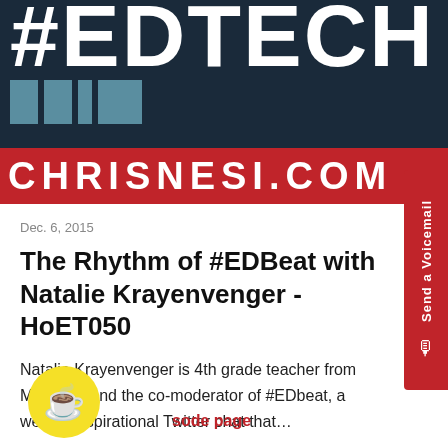[Figure (logo): #EDTECH PODCAST logo banner with dark navy background, teal squares, and red bar reading CHRISNESI.COM]
Dec. 6, 2015
The Rhythm of #EDBeat with Natalie Krayenvenger - HoET050
Natalie Krayenvenger is 4th grade teacher from Maryland and the co-moderator of #EDbeat, a weekly inspirational Twitter chat that…
sode page